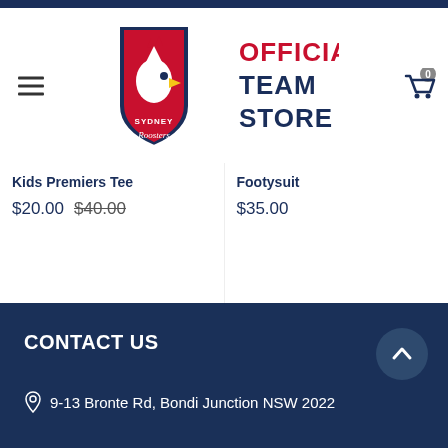[Figure (logo): Sydney Roosters Official Team Store logo: rooster shield emblem on the left, 'OFFICIAL TEAM STORE' text in red and navy on the right]
Kids Premiers Tee
$20.00 $40.00
Footysuit
$35.00
CONTACT US
9-13 Bronte Rd, Bondi Junction NSW 2022